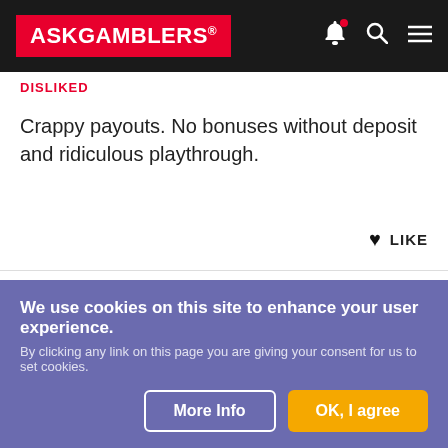ASKGAMBLERS*
DISLIKED
Crappy payouts. No bonuses without deposit and ridiculous playthrough.
♥ LIKE
BLONDIE  ☐ MESSAGE
1592 Reviews ·
NOVEMBER 1, 2014
[Figure (other): Star rating: 5 filled green stars and 3 empty grey stars]
We use cookies on this site to enhance your user experience. By clicking any link on this page you are giving your consent for us to set cookies.